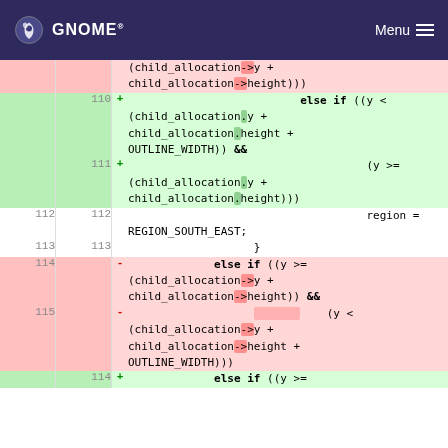GNOME  Menu
[Figure (screenshot): Code diff view showing changes to child_allocation pointer vs member access syntax, lines 110-115, with added lines in green and removed lines in red.]